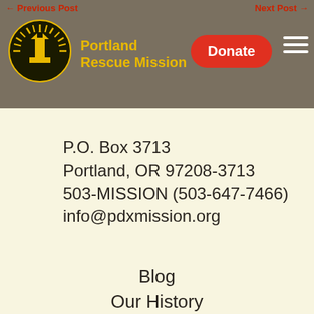← Previous Post    Next Post →
[Figure (logo): Portland Rescue Mission logo — lighthouse inside a circle with sunrays, black and yellow]
Portland Rescue Mission
Donate
P.O. Box 3713
Portland, OR 97208-3713
503-MISSION (503-647-7466)
info@pdxmission.org
Blog
Our History
Take A Tour